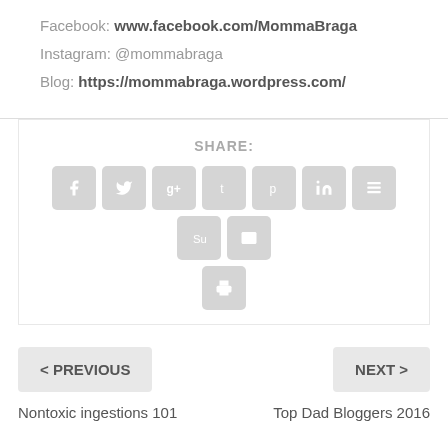Facebook: www.facebook.com/MommaBraga
Instagram: @mommabraga
Blog: https://mommabraga.wordpress.com/
[Figure (infographic): Social share buttons: Facebook, Twitter, Google+, Tumblr, Pinterest, LinkedIn, Buffer, StumbleUpon, Email, Print]
< PREVIOUS
Nontoxic ingestions 101
NEXT >
Top Dad Bloggers 2016